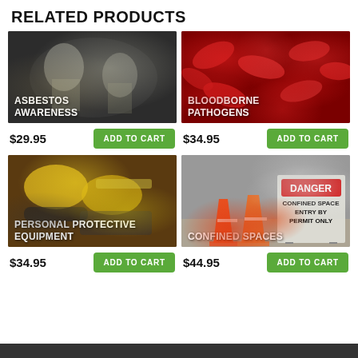RELATED PRODUCTS
[Figure (photo): Workers in white hazmat suits and protective gear handling materials - Asbestos Awareness course thumbnail]
[Figure (photo): Close-up of red blood cells on dark red background - Bloodborne Pathogens course thumbnail]
$29.95
ADD TO CART
$34.95
ADD TO CART
[Figure (photo): Yellow hard hats, gloves, goggles and safety equipment on surface - Personal Protective Equipment course thumbnail]
[Figure (photo): Orange traffic cones and a Danger Confined Space Entry By Permit Only sign - Confined Spaces course thumbnail]
$34.95
ADD TO CART
$44.95
ADD TO CART